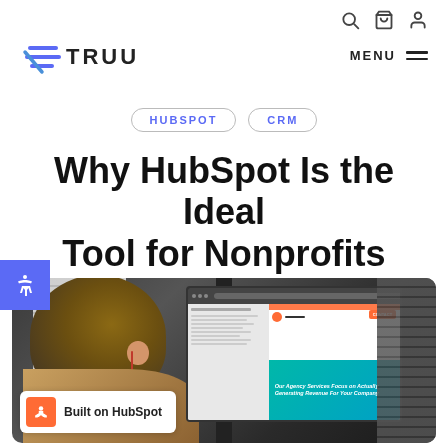TRUU — navigation with search, cart, user icons and MENU
HUBSPOT   CRM
Why HubSpot Is the Ideal Tool for Nonprofits
[Figure (photo): Person sitting at a desk viewed from behind, looking at a computer monitor displaying a HubSpot CRM interface with a teal banner reading 'Our Agency Services Focus on Actually Generating Revenue For Your Company'. A 'Built on HubSpot' badge is visible in the lower left corner of the image.]